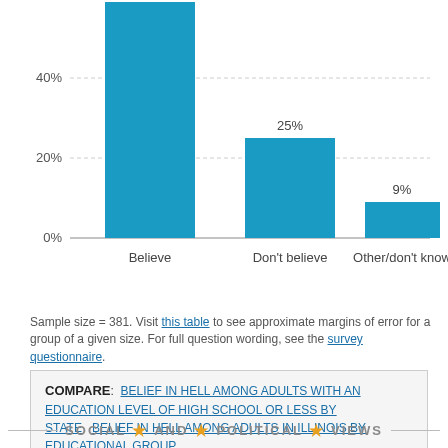[Figure (bar-chart): ]
Sample size = 381. Visit this table to see approximate margins of error for a group of a given size. For full question wording, see the survey questionnaire.
COMPARE: BELIEF IN HELL AMONG ADULTS WITH AN EDUCATION LEVEL OF HIGH SCHOOL OR LESS BY STATE   BELIEF IN HELL AMONG ADULTS IN ILLINOIS BY EDUCATIONAL GROUP
SOCIAL ★ AND ★ POLITICAL ★ VIEWS